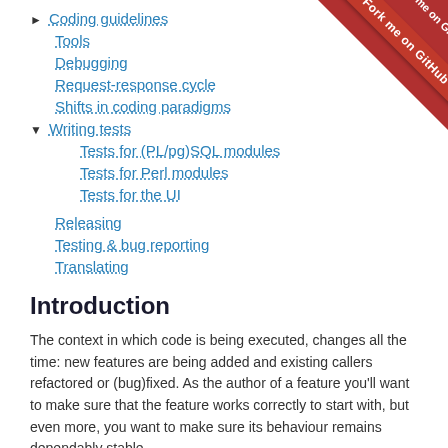▶ Coding guidelines
Tools
Debugging
Request-response cycle
Shifts in coding paradigms
▼ Writing tests
Tests for (PL/pg)SQL modules
Tests for Perl modules
Tests for the UI
Releasing
Testing & bug reporting
Translating
[Figure (illustration): GitHub red ribbon banner in the top-right corner reading 'Fork me on GitHub']
Introduction
The context in which code is being executed, changes all the time: new features are being added and existing callers refactored or (bug)fixed. As the author of a feature you'll want to make sure that the feature works correctly to start with, but even more, you want to make sure its behaviour remains dependably stable.